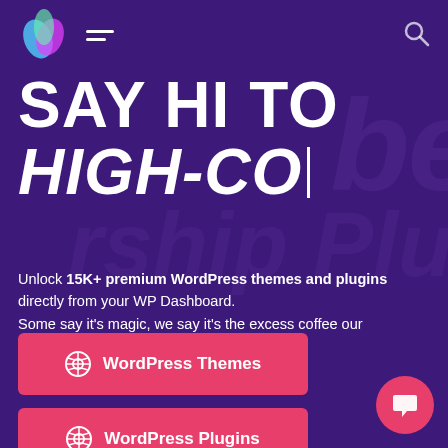[Figure (logo): Colorful flame/leaf logo in blue, pink, green gradient]
SAY HI TO HIGH-CO
Unlock 15K+ premium WordPress themes and plugins directly from your WP Dashboard. Some say it's magic, we say it's the excess coffee our team has been drinking!
WordPress Themes
WordPress Plugins